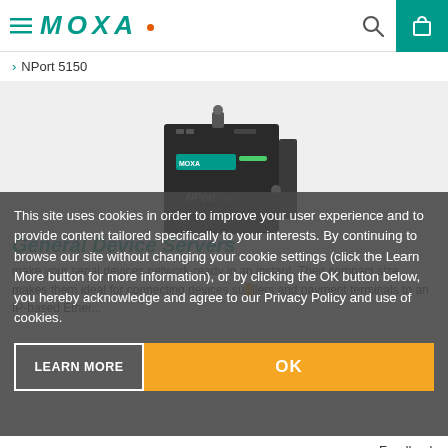MOXA (navigation header with hamburger menu, search icon, and cart icon)
> NPort 5150
[Figure (photo): Moxa NPort 5150 serial device server hardware product photo, small black rectangular device with teal MOXA label and NPort label visible]
General Device Servers
make your serial devices network-ready in an instant. Their compact size makes them ideal for connecting devices such as controllers and payment terminals to an IP-based Ether...
This site uses cookies in order to improve your user experience and to provide content tailored specifically to your interests. By continuing to browse our site without changing your cookie settings (click the Learn More button for more information), or by clicking the OK button below, you hereby acknowledge and agree to our Privacy Policy and use of cookies.
LEARN MORE
OK
Feedback